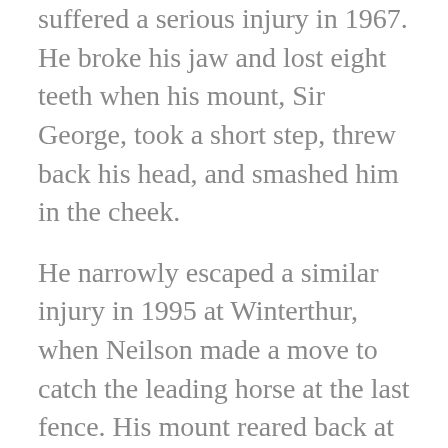suffered a serious injury in 1967. He broke his jaw and lost eight teeth when his mount, Sir George, took a short step, threw back his head, and smashed him in the cheek.
He narrowly escaped a similar injury in 1995 at Winterthur, when Neilson made a move to catch the leading horse at the last fence. His mount reared back at the base of the fence, but Neilson deftly guided him away from the landing and went on to win the race. In a feature on steeplechase racing on 60 Minutes, journalist Charlie Rose interviewed the Neilsons.
Charlie Rose: You're approaching a five-foot fence. What is your head?